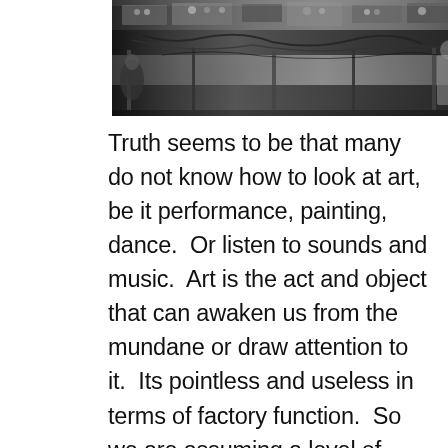[Figure (photo): Black and white photograph of electronic music equipment, synthesizers, mixers, and cables arranged on tables in a studio or performance space, with people partially visible]
Truth seems to be that many do not know how to look at art, be it performance, painting, dance.  Or listen to sounds and music.  Art is the act and object that can awaken us from the mundane or draw attention to it.  Its pointless and useless in terms of factory function.  So we are assuming a level of interest in the visual experience, in knowing another person's mind, intention, sight and feel.